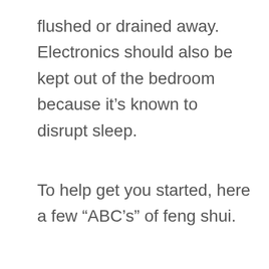flushed or drained away. Electronics should also be kept out of the bedroom because it’s known to disrupt sleep.
To help get you started, here a few “ABC’s” of feng shui.